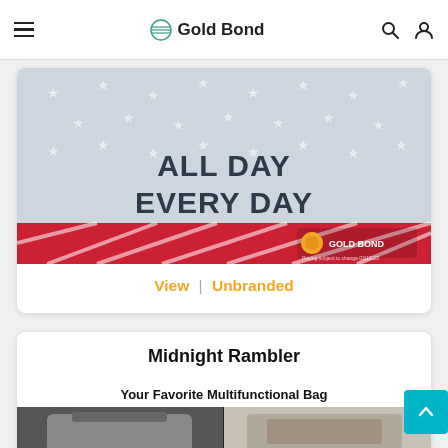Gold Bond
[Figure (photo): Gold Bond promotional image with 'ALL DAY EVERY DAY' text on a patriotic American flag background with stars, red stripes, and the Gold Bond logo at the bottom.]
View | Unbranded
Midnight Rambler
[Figure (photo): Promotional image for 'Your Favorite Multifunctional Bag' showing a gray/beige bag product on a dark background.]